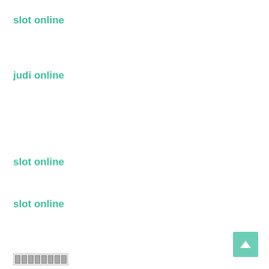slot online
judi online
slot online
slot online
[Figure (other): Small pixelated image or CAPTCHA-like graphic at bottom left]
[Figure (other): Back to top button with upward arrow, teal/green color, bottom right corner]